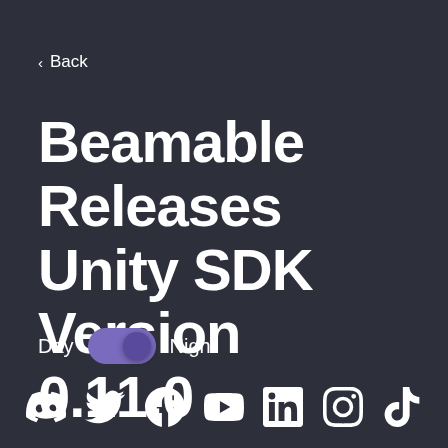< Back
Beamable Releases Unity SDK Version 0.11.0
Day  Night
[Figure (illustration): Row of social media icons at bottom: Discord, Twitter, Facebook, YouTube, LinkedIn, Instagram, TikTok]